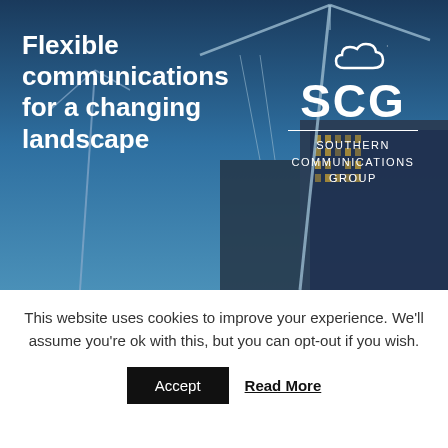[Figure (photo): Construction cranes and buildings against a blue sky at dusk, with white text overlay 'Flexible communications for a changing landscape' and the SCG Southern Communications Group logo in white on the right side.]
Flexible communications for a changing landscape
This website uses cookies to improve your experience. We'll assume you're ok with this, but you can opt-out if you wish.